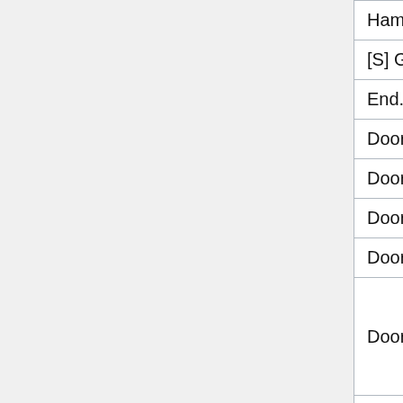| Title | Genre |
| --- | --- |
| Hammer Bro Mario | Comedy |
| [S] GAME OVER. | Action |
| End. | Action |
| Doors 3 - Part 4 | Other |
| Doors 3 - Part 3 | Other |
| Doors 3 - Part 2 | Other |
| Doors 3 - Part 1 | Comedy |
| Doors 2 | Comedy |
| Doors 1 | Action |
| Dead Radio | Action |
| Bubblegum Starz: Cool Cookies Sleepover | Animation |